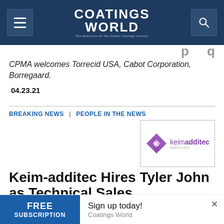Coatings World
CPMA welcomes Torrecid USA, Cabot Corporation, Borregaard.
04.23.21
BREAKING NEWS | PEOPLE IN THE NEWS
[Figure (logo): Keim-additec logo with purple diamond shape and company name]
Keim-additec Hires Tyler John as Technical Sales
FREE SUBSCRIPTION   Sign up today! Coatings World